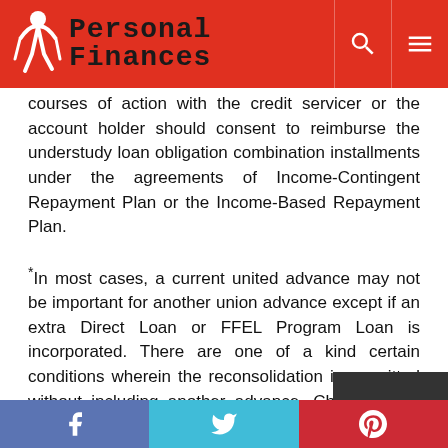Personal Finances
courses of action with the credit servicer or the account holder should consent to reimburse the understudy loan obligation combination installments under the agreements of Income-Contingent Repayment Plan or the Income-Based Repayment Plan.
*In most cases, a current united advance may not be important for another union advance except if an extra Direct Loan or FFEL Program Loan is incorporated. There are one of a kind certain conditions wherein the reconsolidation is permitted without including another advance. Check with a government union master to know whether your obligation is qualified for reconsolidation.
One of the more significant guidelines for advance